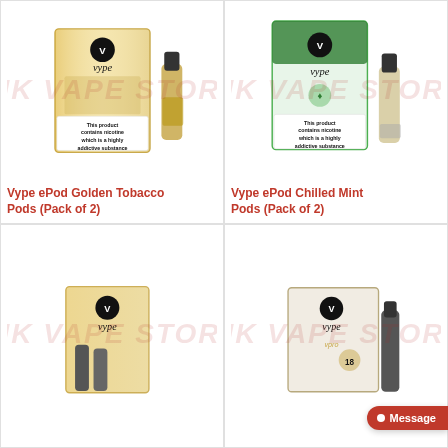[Figure (photo): Vype ePod Golden Tobacco Pods product image with JKVape watermark]
Vype ePod Golden Tobacco Pods (Pack of 2)
[Figure (photo): Vype ePod Chilled Mint Pods product image with JKVape watermark]
Vype ePod Chilled Mint Pods (Pack of 2)
[Figure (photo): Vype product (partially visible) with JKVape watermark]
[Figure (photo): Vype ePro product (partially visible) with JKVape watermark]